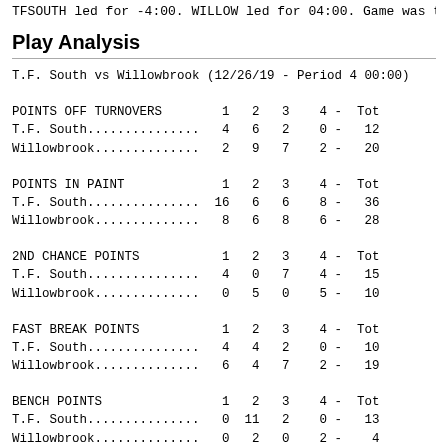TFSOUTH led for -4:00. WILLOW led for 04:00. Game  was t
Play Analysis
T.F. South vs Willowbrook (12/26/19 - Period 4 00:00)

POINTS OFF TURNOVERS        1   2   3    4 -  Tot
T.F. South...............   4   6   2    0 -   12
Willowbrook..............   2   9   7    2 -   20

POINTS IN PAINT             1   2   3    4 -  Tot
T.F. South...............  16   6   6    8 -   36
Willowbrook..............   8   6   8    6 -   28

2ND CHANCE POINTS           1   2   3    4 -  Tot
T.F. South...............   4   0   7    4 -   15
Willowbrook..............   0   5   0    5 -   10

FAST BREAK POINTS           1   2   3    4 -  Tot
T.F. South...............   4   4   2    0 -   10
Willowbrook..............   6   4   7    2 -   19

BENCH POINTS                1   2   3    4 -  Tot
T.F. South...............   0  11   2    0 -   13
Willowbrook..............   0   2   0    2 -    4

SCORE TIED BY               1   2   3    4 -  Tot